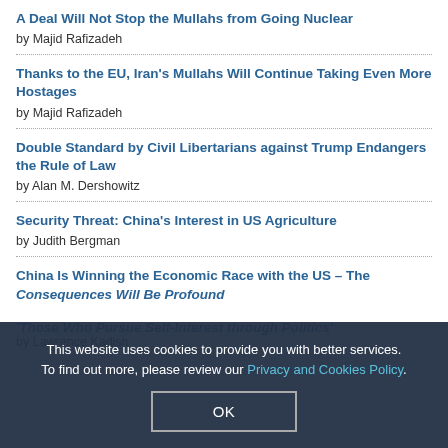A Deal Will Not Stop the Mullahs from Going Nuclear by Majid Rafizadeh
Thanks to the EU, Iran's Mullahs Will Continue Taking Even More Hostages by Majid Rafizadeh
Double Standard by Civil Libertarians against Trump Endangers the Rule of Law by Alan M. Dershowitz
Security Threat: China's Interest in US Agriculture by Judith Bergman
China Is Winning the Economic Race with the US – The Consequences Will Be Profound
'Those Who Pursue Self-Interest through Politics' by Lawrence Kadish
This website uses cookies to provide you with better services. To find out more, please review our Privacy and Cookies Policy.
OK